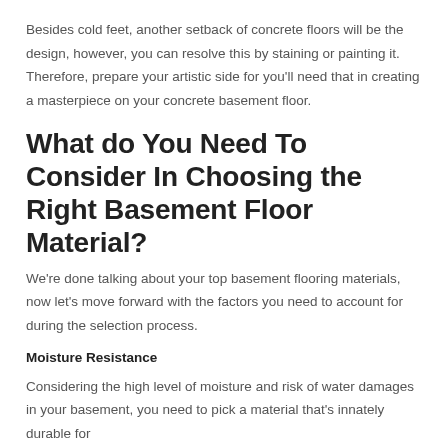Besides cold feet, another setback of concrete floors will be the design, however, you can resolve this by staining or painting it. Therefore, prepare your artistic side for you'll need that in creating a masterpiece on your concrete basement floor.
What do You Need To Consider In Choosing the Right Basement Floor Material?
We're done talking about your top basement flooring materials, now let's move forward with the factors you need to account for during the selection process.
Moisture Resistance
Considering the high level of moisture and risk of water damages in your basement, you need to pick a material that's innately durable for